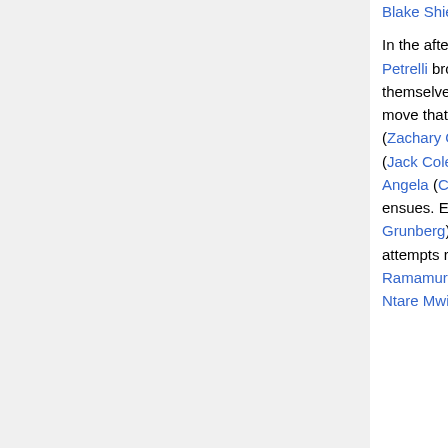Blake Shields guest star. In the aftermath of the showdown against Arthur Petrelli, the Petrelli brothers (Adrian Pasdar and Milo Ventimiglia) find themselves battling against one another and Nathan makes a move that will have global repercussions. Meanwhile, Sylar (Zachary Quinto) holds Claire (Hayden Panettiere), H.R.G. (Jack Coleman), Meredith (guest star Jessalyn Gilsig) and Angela (Cristine Rose) hostage at Primatech and a face-off ensues. Elsewhere, Ando (James Kyson Lee), Matt (Greg Grunberg) and Daphne (guest star Brea Grant) continue their attempts rescue Hiro (Masi Oka) -- and Dr. Suresh (Sendhil Ramamurthy) may be their only hope. Ali Larter also stars. Ntare Mwine, David H. Lawrence XVII